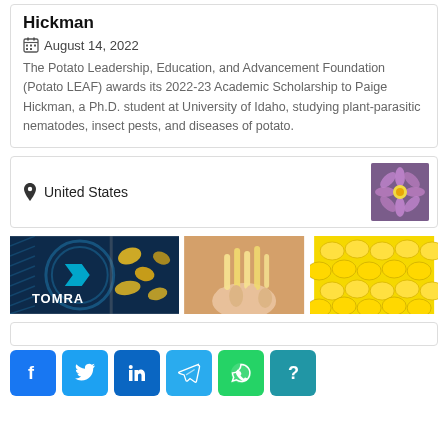Hickman
August 14, 2022
The Potato Leadership, Education, and Advancement Foundation (Potato LEAF) awards its 2022-23 Academic Scholarship to Paige Hickman, a Ph.D. student at University of Idaho, studying plant-parasitic nematodes, insect pests, and diseases of potato.
United States
[Figure (photo): Purple flower thumbnail image]
[Figure (photo): Row of four images: TOMRA logo/branding image, yellow potato chips on machinery, hands holding french fries, close-up of yellow corn kernels]
[Figure (other): Social media share buttons: Facebook, Twitter, LinkedIn, Telegram, WhatsApp, and unknown/other]
Facebook share button
Twitter share button
LinkedIn share button
Telegram share button
WhatsApp share button
Other/unknown share button